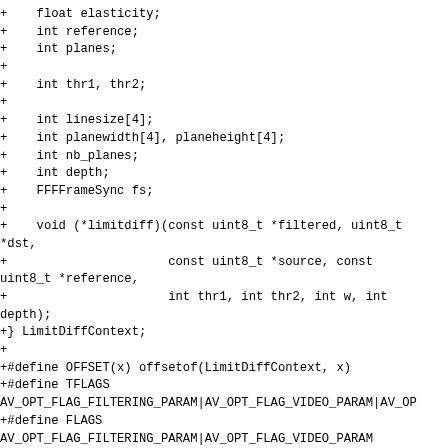Code diff snippet showing struct fields and macro definitions for LimitDiffContext in a C source file, including float elasticity, int reference, int planes, int thr1/thr2, int linesize[4], int planewidth[4]/planeheight[4], int nb_planes, int depth, FFFFrameSync fs, void (*limitdiff) function pointer, closing brace LimitDiffContext, #define OFFSET, #define TFLAGS, #define FLAGS, static const AVOption limitdiff_options[] definition start.